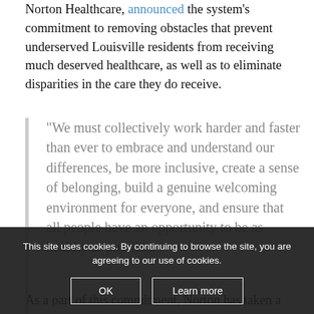Norton Healthcare, announced the system's commitment to removing obstacles that prevent underserved Louisville residents from receiving much deserved healthcare, as well as to eliminate disparities in the care they do receive.
“We must collectively work harder and faster than ever to embrace and understand our differences, be more inclusive, create a sense of belonging, build a genuine welcoming environment for everyone, and ensure that all people have an opportunity to be as healthy as possible.
As a part of this commitment, Norton has taken a
This site uses cookies. By continuing to browse the site, you are agreeing to our use of cookies.